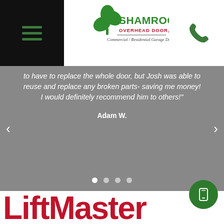[Figure (logo): Shamrock Overhead Door Inc. logo with shamrock graphic and text 'Commercial / Residential Garage Doors']
to have to replace the whole door, but Josh was able to reuse and replace any broken parts- saving me money! I would definitely recommend him to others!"
Adam W.
[Figure (logo): LiftMaster logo in dark red/crimson color, partially visible at bottom of page]
[Figure (illustration): Green circular FAB button with mobile phone icon]